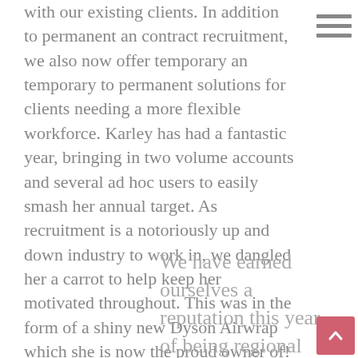with our existing clients.  In addition to permanent and contract recruitment, we also now offer temporary and temporary to permanent solutions for clients needing a more flexible workforce.  Karley has had a fantastic year, bringing in two volume accounts and several ad hoc users to easily smash her annual target.  As recruitment is a notoriously up and down industry to work in, we dangled her a carrot to help keep her motivated throughout.  This was in the form of a shiny new Dyson Airwrap which she is now the proud owner of!
We have earned ourselves a reputation this year of being regional contact